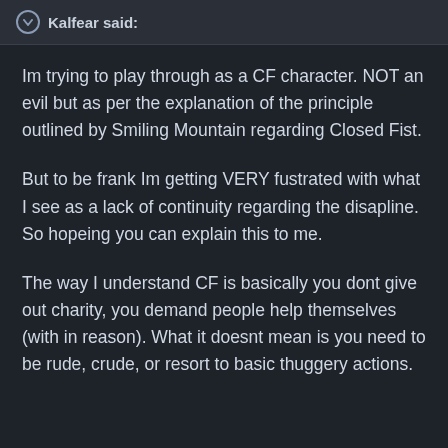Kalfear said:
Im trying to play through as a CF character. NOT an evil but as per the explanation of the principle outlined by Smiling Mountain regarding Closed Fist.
But to be frank Im getting VERY fustrated with what I see as a lack of continuity regarding the disapline. So hopeing you can explain this to me.
The way I understand CF is basically you dont give out charity, you demand people help themselves (with in reason). What it doesnt mean is you need to be rude, crude, or resort to basic thuggery actions.